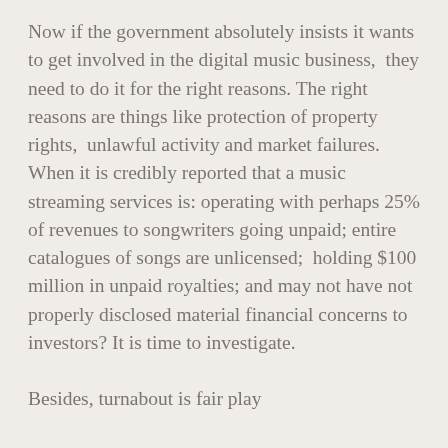Now if the government absolutely insists it wants to get involved in the digital music business,  they need to do it for the right reasons. The right reasons are things like protection of property rights,  unlawful activity and market failures.  When it is credibly reported that a music streaming services is: operating with perhaps 25% of revenues to songwriters going unpaid; entire catalogues of songs are unlicensed;  holding $100 million in unpaid royalties; and may not have not properly disclosed material financial concerns to investors? It is time to investigate.
Besides, turnabout is fair play